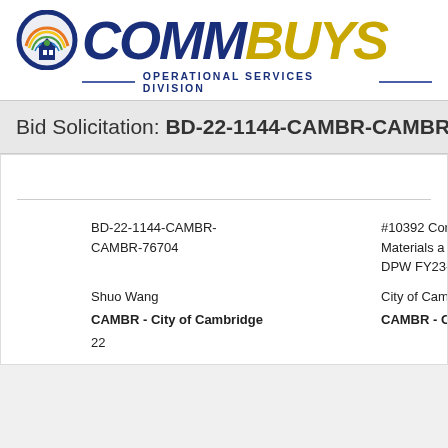[Figure (logo): COMMBUYS logo with Operational Services Division text]
Bid Solicitation: BD-22-1144-CAMBR-CAMBR-767
BD-22-1144-CAMBR-CAMBR-76704
#10392 Con Materials a DPW FY23-2
Shuo Wang
City of Cam
CAMBR - City of Cambridge
CAMBR - Cit
22